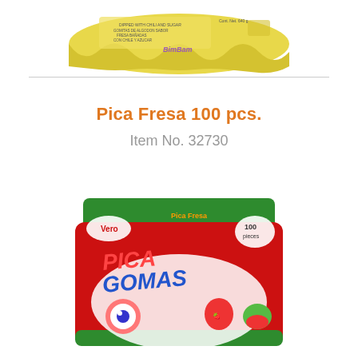[Figure (photo): Yellow candy bag product image (top, partially cropped)]
Pica Fresa 100 pcs.
Item No. 32730
[Figure (photo): Vero Pica Gomas 100 pcs red/green candy bag product image]